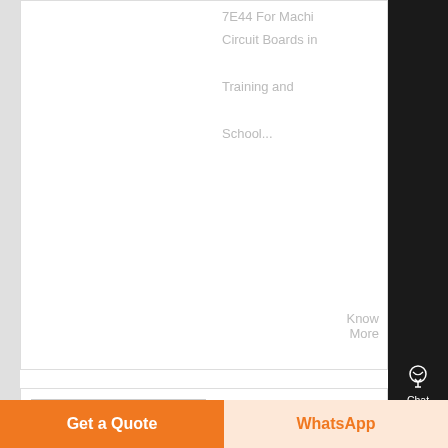7E44 For Machine Circuit Boards in Training and School...
Know More
[Figure (photo): Industrial milling or grinding equipment outdoors with silos and blue sky, watermark '3KY']
CAD-CAM Software for CNC Milling by BobCAD
Get a Quote
WhatsApp